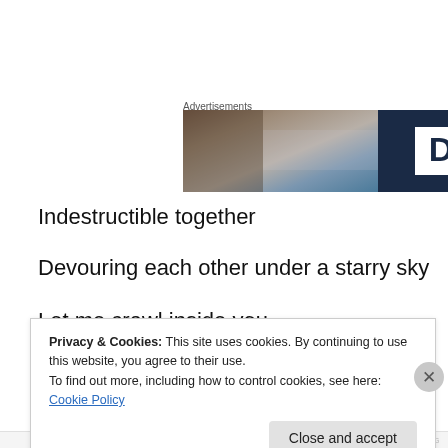Advertisements
[Figure (illustration): Advertisement banner showing a blurred photo on the left half and a dark navy blue background on the right half with a white box containing the letter D in dark navy.]
Indestructible together
Devouring each other under a starry sky
Let me crawl inside you
Forever connected
Privacy & Cookies: This site uses cookies. By continuing to use this website, you agree to their use.
To find out more, including how to control cookies, see here: Cookie Policy
Close and accept